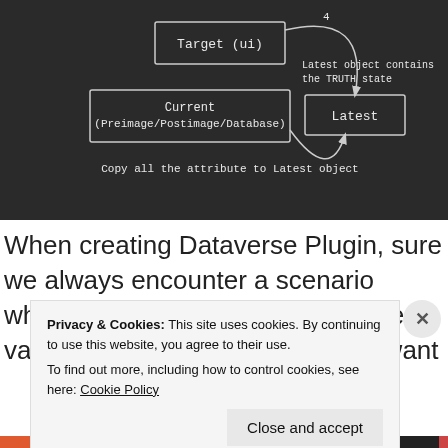[Figure (flowchart): Dark background diagram showing boxes labeled 'Target (ui)', 'Current (Preimage/Postimage/Database)', and 'Latest' connected by curved arrows. Text annotations: 'Latest object contains the TRUTH state' and 'Copy all the attribute to Latest object'.]
When creating Dataverse Plugin, sure we always encounter a scenario where we need to retrieve attribute values of the main entity. But we want
Privacy & Cookies: This site uses cookies. By continuing to use this website, you agree to their use.
To find out more, including how to control cookies, see here: Cookie Policy
Close and accept